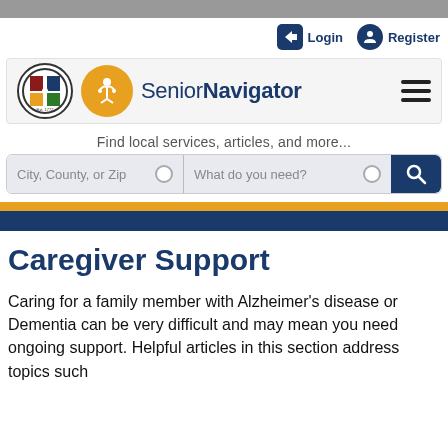Senior Navigator website header with Login, Register, logo, and search bar
Caregiver Support
Caring for a family member with Alzheimer's disease or Dementia can be very difficult and may mean you need ongoing support. Helpful articles in this section address topics such